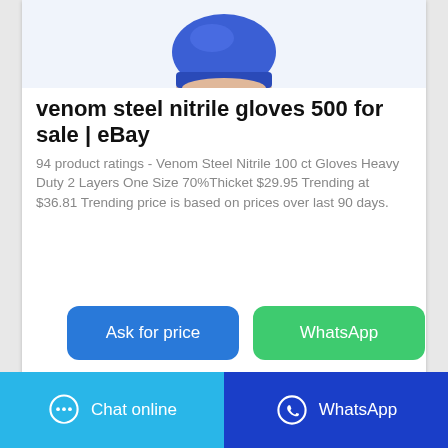[Figure (photo): A hand wearing a blue nitrile glove, shown from wrist down, cropped at the top of the card]
venom steel nitrile gloves 500 for sale | eBay
94 product ratings - Venom Steel Nitrile 100 ct Gloves Heavy Duty 2 Layers One Size 70%Thicket $29.95 Trending at $36.81 Trending price is based on prices over last 90 days.
Ask for price
WhatsApp
Chat online
WhatsApp